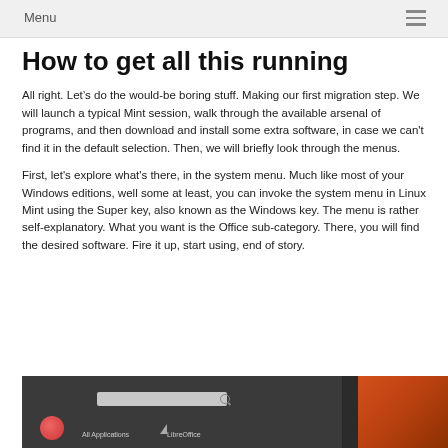Menu
How to get all this running
All right. Let’s do the would-be boring stuff. Making our first migration step. We will launch a typical Mint session, walk through the available arsenal of programs, and then download and install some extra software, in case we can't find it in the default selection. Then, we will briefly look through the menus.
First, let's explore what's there, in the system menu. Much like most of your Windows editions, well some at least, you can invoke the system menu in Linux Mint using the Super key, also known as the Windows key. The menu is rather self-explanatory. What you want is the Office sub-category. There, you will find the desired software. Fire it up, start using, end of story.
[Figure (screenshot): Screenshot of Linux Mint application menu showing a search bar, Firefox icon, 'All Applications' text, and LibreOffice icon on a dark background with an orange/fiery wallpaper visible on the right side.]